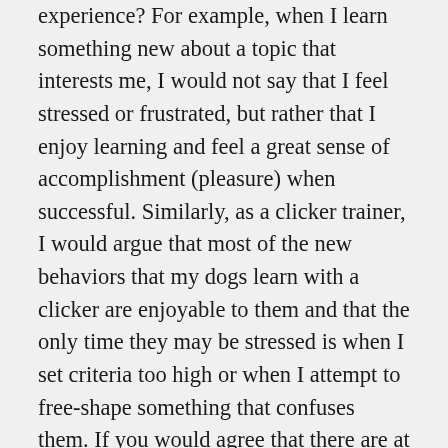experience? For example, when I learn something new about a topic that interests me, I would not say that I feel stressed or frustrated, but rather that I enjoy learning and feel a great sense of accomplishment (pleasure) when successful. Similarly, as a clicker trainer, I would argue that most of the new behaviors that my dogs learn with a clicker are enjoyable to them and that the only time they may be stressed is when I set criteria too high or when I attempt to free-shape something that confuses them. If you would agree that there are at least some instances of